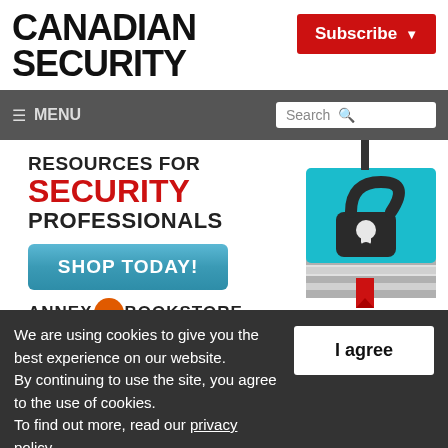CANADIAN SECURITY
Subscribe
≡ MENU   Search
[Figure (illustration): Advertisement banner: RESOURCES FOR SECURITY PROFESSIONALS with SHOP TODAY! button and lock book illustration, ANNEX BOOKSTORE branding]
We are using cookies to give you the best experience on our website. By continuing to use the site, you agree to the use of cookies. To find out more, read our privacy policy.
I agree